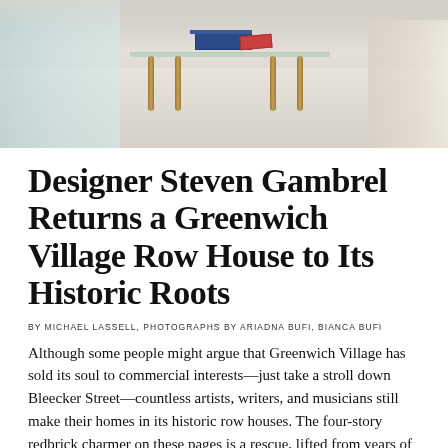[Figure (photo): Interior photo showing a living room with a glass-top coffee table with brass legs, books on top, set on a light beige carpet. Partial view of sofas and chairs visible at edges.]
Designer Steven Gambrel Returns a Greenwich Village Row House to Its Historic Roots
BY MICHAEL LASSELL, PHOTOGRAPHS BY ARIADNA BUFI, BIANCA BUFI
Although some people might argue that Greenwich Village has sold its soul to commercial interests—just take a stroll down Bleecker Street—countless artists, writers, and musicians still make their homes in its historic row houses. The four-story redbrick charmer on these pages is a rescue, lifted from years of abuse by loving owners and the talents of designer Steven Gambrel, whose office is only a few blocks away, off Sheridan Square.